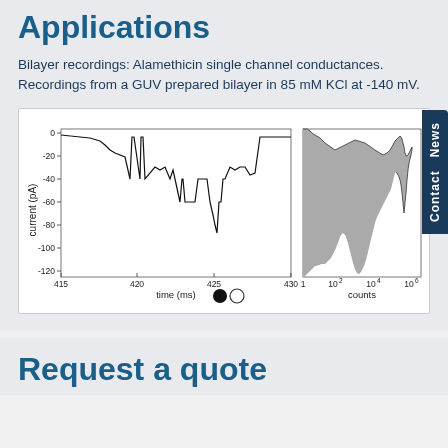Applications
Bilayer recordings: Alamethicin single channel conductances. Recordings from a GUV prepared bilayer in 85 mM KCl at -140 mV.
[Figure (continuous-plot): Two-panel scientific figure. Left panel: time trace of current (pA) vs time (ms) from 415 to 430 ms, showing ion channel current steps ranging from 0 to -120 pA. Right panel: histogram of counts (log scale, 1 to 10^6) vs current level, showing gray filled distribution with peaks corresponding to channel conductance states. Below left panel: x-axis label 'time (ms)' with filled black circle and open circle icons.]
Request a quote